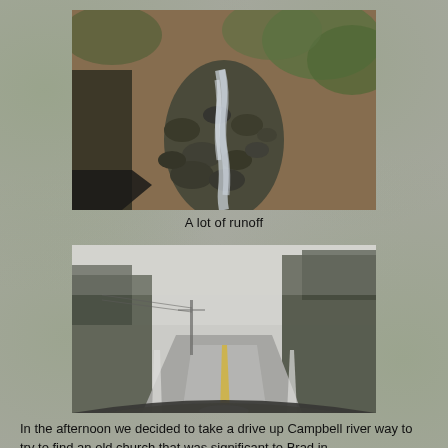[Figure (photo): Photograph of a rocky stream with fast-moving water runoff, surrounded by dark rocks and leaf-littered ground with green vegetation]
A lot of runoff
[Figure (photo): Photograph taken from inside a vehicle looking down a foggy two-lane road lined with tall evergreen trees, wet road surface visible, power lines along the left side]
In the afternoon we decided to take a drive up Campbell river way to try to find an old church that was significant to Brad in